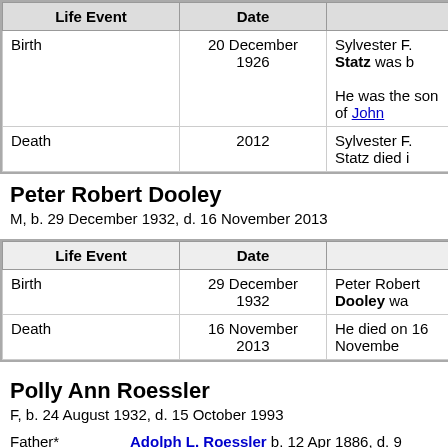| Life Event | Date |  |
| --- | --- | --- |
| Birth | 20 December 1926 | Sylvester F. Statz was b…
He was the son of John… |
| Death | 2012 | Sylvester F. Statz died i… |
Peter Robert Dooley
M, b. 29 December 1932, d. 16 November 2013
| Life Event | Date |  |
| --- | --- | --- |
| Birth | 29 December 1932 | Peter Robert Dooley wa… |
| Death | 16 November 2013 | He died on 16 Novembe… |
Polly Ann Roessler
F, b. 24 August 1932, d. 15 October 1993
Father*	Adolph L. Roessler b. 12 Apr 1886, d. 9…
Mother*	Genevieve McCarville b. Jan 1892, d. 17…